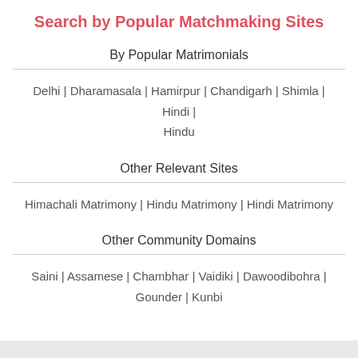Search by Popular Matchmaking Sites
By Popular Matrimonials
Delhi | Dharamasala | Hamirpur | Chandigarh | Shimla | Hindi | Hindu
Other Relevant Sites
Himachali Matrimony | Hindu Matrimony | Hindi Matrimony
Other Community Domains
Saini | Assamese | Chambhar | Vaidiki | Dawoodibohra | Gounder | Kunbi